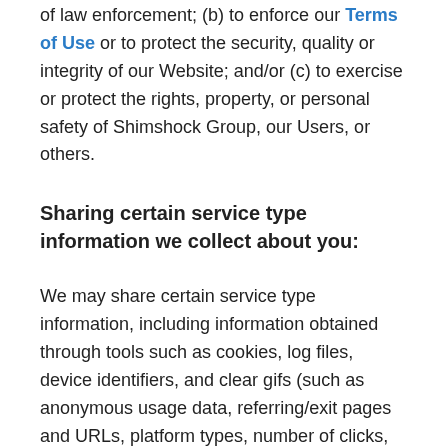of law enforcement; (b) to enforce our Terms of Use or to protect the security, quality or integrity of our Website; and/or (c) to exercise or protect the rights, property, or personal safety of Shimshock Group, our Users, or others.
Sharing certain service type information we collect about you:
We may share certain service type information, including information obtained through tools such as cookies, log files, device identifiers, and clear gifs (such as anonymous usage data, referring/exit pages and URLs, platform types, number of clicks, etc.): (i) with our third-party business partners for the purposes described in the section above on "How We Collect and Use Information." We may also aggregate or otherwise strip data of all personally